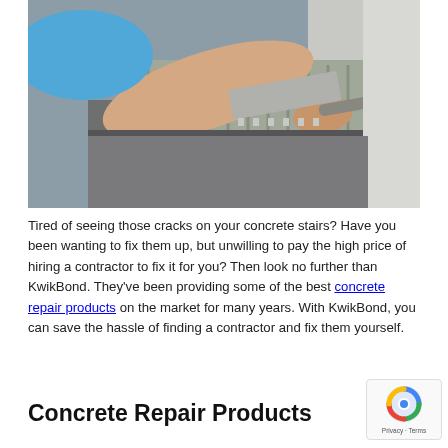[Figure (photo): Close-up photo of a person in a blue shirt using a notched trowel to spread gray concrete adhesive/mortar, installing tiles on steps. A white rubber mallet is also visible.]
Tired of seeing those cracks on your concrete stairs? Have you been wanting to fix them up, but unwilling to pay the high price of hiring a contractor to fix it for you? Then look no further than KwikBond. They've been providing some of the best concrete repair products on the market for many years. With KwikBond, you can save the hassle of finding a contractor and fix them yourself.
Concrete Repair Products